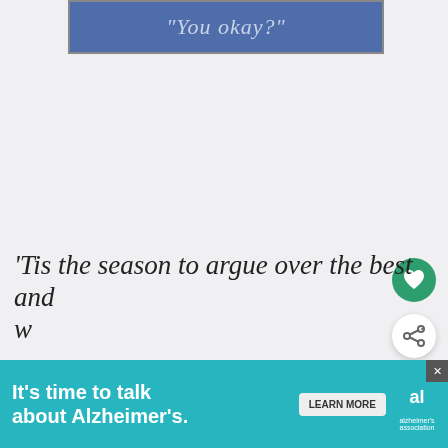[Figure (illustration): Blue banner with italic text reading "You okay?" in a lighter blue color on a steel-blue background with a border]
[Figure (illustration): Green circular heart/favorite button icon]
[Figure (illustration): White circular share button with share icon]
[Figure (illustration): What's Next card showing chocolate peanut butter image thumbnail with label WHAT'S NEXT and title Chocolate Peanut Butt...]
Tis the season to argue over the best and w
[Figure (infographic): Alzheimer's association advertisement banner: It's time to talk about Alzheimer's. with LEARN MORE button and Alzheimer's Association logo on teal background]